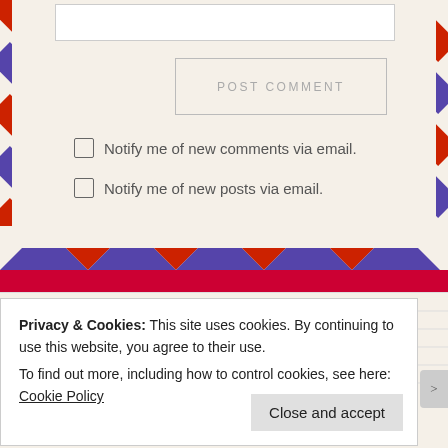[Figure (screenshot): POST COMMENT button with airmail border envelope design]
Notify me of new comments via email.
Notify me of new posts via email.
Get Social
Privacy & Cookies: This site uses cookies. By continuing to use this website, you agree to their use.
To find out more, including how to control cookies, see here: Cookie Policy
Close and accept